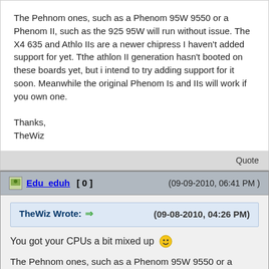The Pehnom ones, such as a Phenom 95W 9550 or a Phenom II, such as the 925 95W will run without issue. The X4 635 and Athlo IIs are a newer chipress I haven't added support for yet. Tthe athlon II generation hasn't booted on these boards yet, but i intend to try adding support for it soon. Meanwhile the original Phenom Is and IIs will work if you own one.

Thanks,
TheWiz
Quote
Edu_eduh [ 0 ]   (09-09-2010, 06:41 PM )
TheWiz Wrote: → (09-08-2010, 04:26 PM)
You got your CPUs a bit mixed up 😀
The Pehnom ones, such as a Phenom 95W 9550 or a Phenom II, such as the 925 95W will run without issue. The X4 635 and Athlo IIs are